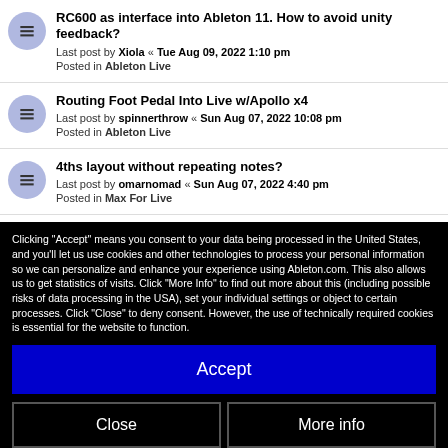RC600 as interface into Ableton 11. How to avoid unity feedback?
Last post by Xiola « Tue Aug 09, 2022 1:10 pm
Posted in Ableton Live
Routing Foot Pedal Into Live w/Apollo x4
Last post by spinnerthrow « Sun Aug 07, 2022 10:08 pm
Posted in Ableton Live
4ths layout without repeating notes?
Last post by omarnomad « Sun Aug 07, 2022 4:40 pm
Posted in Max For Live
Speculative Machines August Set posted
Last post by tjdigit « Sat Aug 06, 2022 5:06 pm
Posted in Music Sharing
Clicking "Accept" means you consent to your data being processed in the United States, and you'll let us use cookies and other technologies to process your personal information so we can personalize and enhance your experience using Ableton.com. This also allows us to get statistics of visits. Click "More Info" to find out more about this (including possible risks of data processing in the USA), set your individual settings or object to certain processes. Click "Close" to deny consent. However, the use of technically required cookies is essential for the website to function.